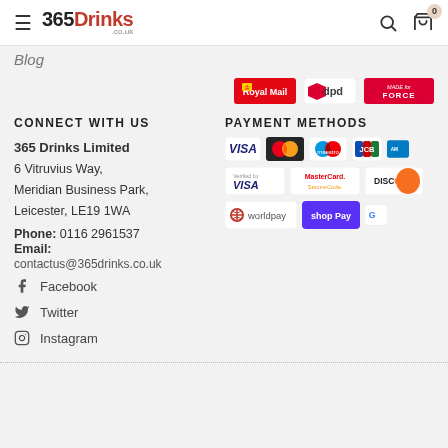365 Drinks .co.uk — navigation header with search and cart (0)
Blog
[Figure (logo): Delivery partner logos: Royal Mail, dpd, and MADE-for-FORCE]
CONNECT WITH US
PAYMENT METHODS
365 Drinks Limited
6 Vitruvius Way,
Meridian Business Park,
Leicester, LE19 1WA
Phone: 0116 2961537
Email: contactus@365drinks.co.uk
[Figure (logo): Payment method logos: VISA, Mastercard, Maestro, JCB, American Express, Verified by VISA, MasterCard SecureCode, DISCOVER, Worldpay, Shop Pay, Google Pay]
Facebook
Twitter
Instagram